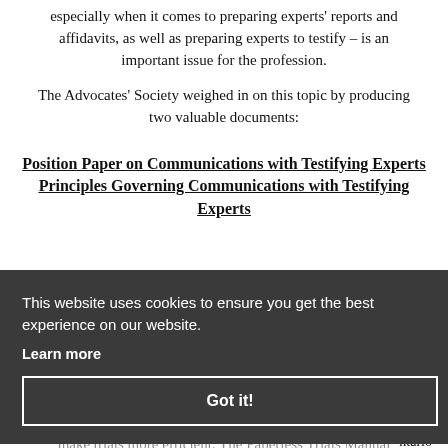especially when it comes to preparing experts' reports and affidavits, as well as preparing experts to testify – is an important issue for the profession.
The Advocates' Society weighed in on this topic by producing two valuable documents:
Position Paper on Communications with Testifying Experts
Principles Governing Communications with Testifying Experts
This website uses cookies to ensure you get the best experience on our website.
Learn more
Got it!
and
ntario
A 55.